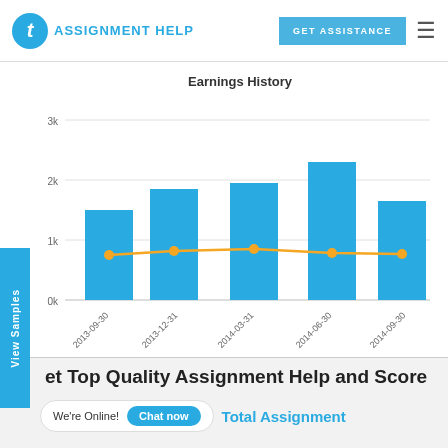TAssignmentHelp | GET ASSISTANCE
[Figure (bar-chart): Earnings History]
View Samples
et Top Quality Assignment Help and Score
We're Online!  Chat now  Total Assignment